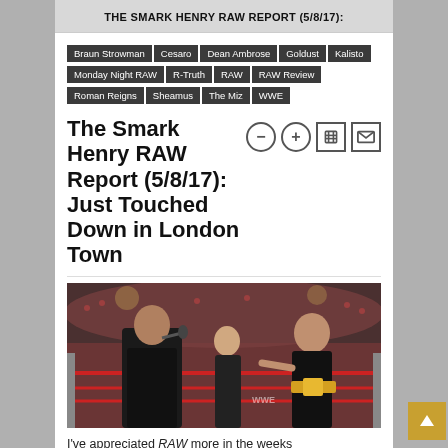THE SMARK HENRY RAW REPORT (5/8/17):
Braun Strowman | Cesaro | Dean Ambrose | Goldust | Kalisto | Monday Night RAW | R-Truth | RAW | RAW Review | Roman Reigns | Sheamus | The Miz | WWE
The Smark Henry RAW Report (5/8/17): Just Touched Down in London Town
[Figure (photo): Two WWE wrestlers on a wrestling ring — one in a dark coat holding a microphone, and another pointing at him wearing a championship belt.]
I've appreciated RAW more in the weeks